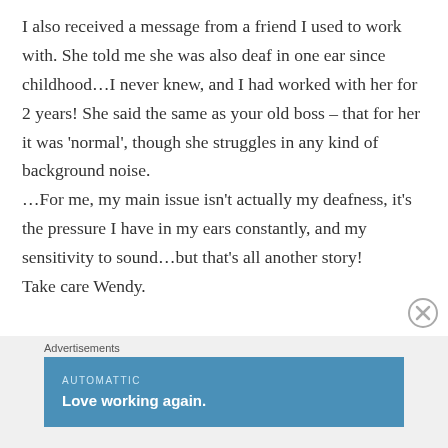I also received a message from a friend I used to work with. She told me she was also deaf in one ear since childhood...I never knew, and I had worked with her for 2 years! She said the same as your old boss – that for her it was 'normal', though she struggles in any kind of background noise.
...For me, my main issue isn't actually my deafness, it's the pressure I have in my ears constantly, and my sensitivity to sound...but that's all another story!
Take care Wendy.
Advertisements
[Figure (other): Advertisement banner with blue background. Top text: AUTOMATTIC. Main text: Love working again.]